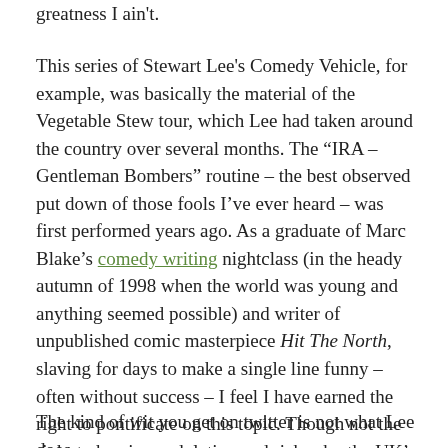greatness I ain't.
This series of Stewart Lee's Comedy Vehicle, for example, was basically the material of the Vegetable Stew tour, which Lee had taken around the country over several months. The “IRA – Gentleman Bombers” routine – the best observed put down of those fools I’ve ever heard – was first performed years ago. As a graduate of Marc Blake’s comedy writing nightclass (in the heady autumn of 1998 when the world was young and anything seemed possible) and writer of unpublished comic masterpiece Hit The North, slaving for days to make a single line funny – often without success – I feel I have earned the right to pontificate on this topic. Though not the right to be given adulation and riches by the UK’s leading publishing houses.
The kind of wit you get on twitter is not what Lee does